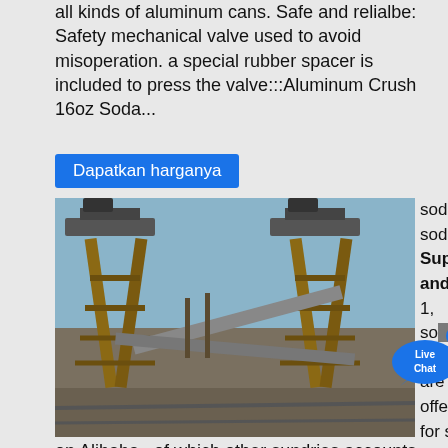all kinds of aluminum cans. Safe and relialbe: Safety mechanical valve used to avoid misoperation. a special rubber spacer is included to press the valve:::Aluminum Crush 16oz Soda...
Dapatkan harganya
[Figure (photo): Industrial conveyor/crusher equipment with tall metal frame structures against a blue sky]
soda , soda Suppliers and 1, soda products are offered for sale by suppliers on Alibaba , of which other sundries accounts for 3%, crusher accounts for 1%, and scrap metal shredders accounts for 1%. A wide variety of soda options are available to you, such as philippines. You can also choose from high productivity, easy to operate ...
Dapatkan harganya